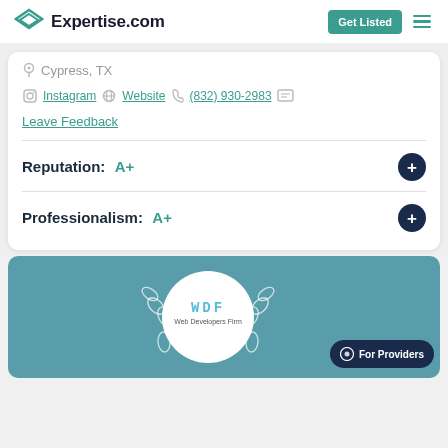Expertise.com — Get Listed
Cypress, TX
Instagram | Website | (832) 930-2983
Leave Feedback
Reputation: A+
Professionalism: A+
[Figure (logo): Web Developers Firm badge with wreath and circular logo on teal background, with a For Providers chat button]